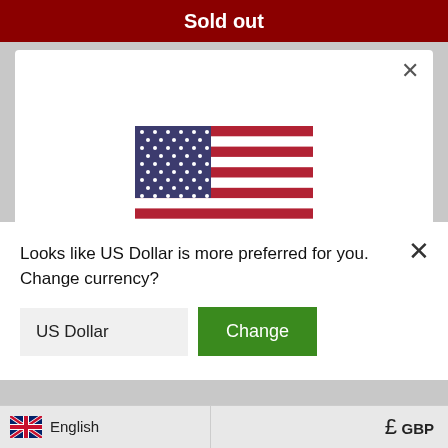Sold out
[Figure (screenshot): Currency change modal dialog with US flag, showing prompt to change to US Dollar currency]
Looks like US Dollar is more preferred for you. Change currency?
US Dollar
Change
Shop now
Change shipping country
English
£ GBP